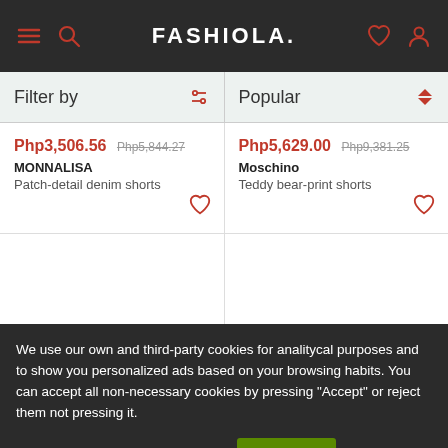FASHIOLA.
Filter by | Popular
Php3,506.56 Php5,844.27
MONNALISA
Patch-detail denim shorts
Php5,629.00 Php9,381.25
Moschino
Teddy bear-print shorts
We use our own and third-party cookies for analitycal purposes and to show you personalized ads based on your browsing habits. You can accept all non-necessary cookies by pressing "Accept" or reject them not pressing it.
More information
Accept